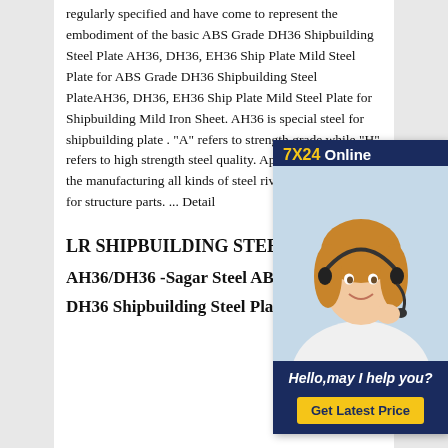regularly specified and have come to represent the embodiment of the basic ABS Grade DH36 Shipbuilding Steel Plate AH36, DH36, EH36 Ship Plate Mild Steel Plate for ABS Grade DH36 Shipbuilding Steel PlateAH36, DH36, EH36 Ship Plate Mild Steel Plate for Shipbuilding Mild Iron Sheet. AH36 is special steel shipbuilding plate . "A" refers to strength grade while "H" refers to high strength steel quality. Application apply to manufacturing all kinds of steel rivet, plug, welding for structure parts. ... Detail
[Figure (photo): Chat widget overlay showing '7X24 Online' header with yellow text, a photo of a woman wearing a headset, message 'Hello,may I help you?' and a 'Get Latest Price' button.]
LR SHIPBUILDING STEEL PLATES
AH36/DH36 -Sagar Steel ABS Grade DH36 Shipbuilding Steel Plate